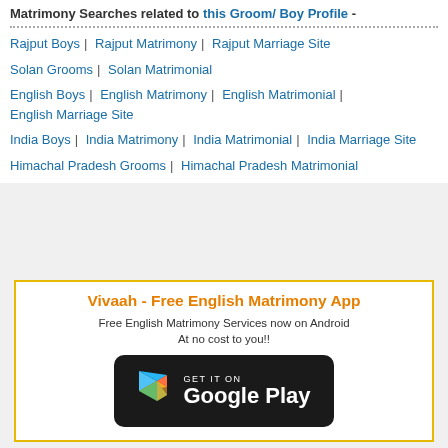Matrimony Searches related to this Groom/ Boy Profile -
Rajput Boys | Rajput Matrimony | Rajput Marriage Site
Solan Grooms | Solan Matrimonial
English Boys | English Matrimony | English Matrimonial | English Marriage Site
India Boys | India Matrimony | India Matrimonial | India Marriage Site
Himachal Pradesh Grooms | Himachal Pradesh Matrimonial
[Figure (infographic): Vivaah - Free English Matrimony App promotional box with orange title, description text, and Google Play Store button]
Vivaah - Free English Matrimony App